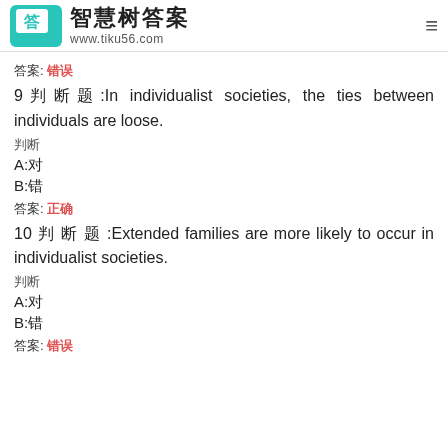智慧树答案 www.tiku56.com
答案: 错误
9判断题:In individualist societies, the ties between individuals are loose.
判断
A:对
B:错
答案: 正确
10 判 断 题 :Extended families are more likely to occur in individualist societies.
判断
A:对
B:错
答案: 错误